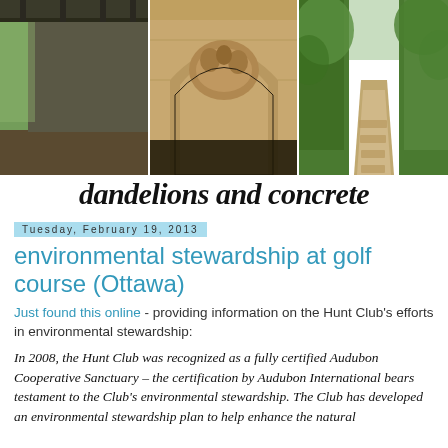[Figure (photo): Blog header banner with three photos side by side: interior of a building with large windows, stone architectural detail with carved relief, and a green tree-lined pathway.]
dandelions and concrete
Tuesday, February 19, 2013
environmental stewardship at golf course (Ottawa)
Just found this online - providing information on the Hunt Club's efforts in environmental stewardship:
In 2008, the Hunt Club was recognized as a fully certified Audubon Cooperative Sanctuary – the certification by Audubon International bears testament to the Club's environmental stewardship.  The Club has developed an environmental stewardship plan to help enhance the natural resources, wildlife habitat of the course and the relationship between the course and the local environment.